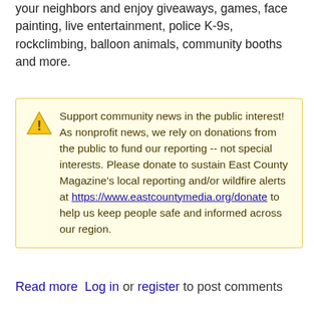your neighbors and enjoy giveaways, games, face painting, live entertainment, police K-9s, rockclimbing, balloon animals, community booths and more.
Support community news in the public interest! As nonprofit news, we rely on donations from the public to fund our reporting -- not special interests. Please donate to sustain East County Magazine's local reporting and/or wildfire alerts at https://www.eastcountymedia.org/donate to help us keep people safe and informed across our region.
Read more  Log in or register to post comments